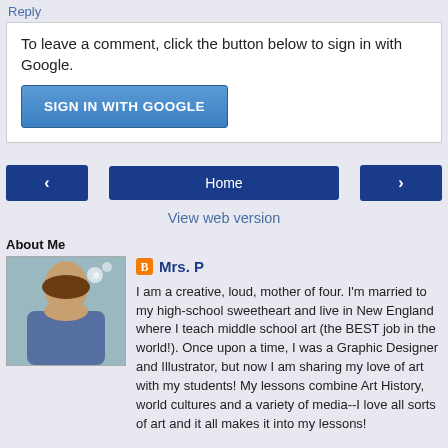Reply
To leave a comment, click the button below to sign in with Google.
SIGN IN WITH GOOGLE
[Figure (screenshot): Navigation bar with left arrow button, Home button, and right arrow button]
View web version
About Me
[Figure (photo): Profile photo of Mrs. P, a woman with dark hair]
Mrs. P
I am a creative, loud, mother of four. I'm married to my high-school sweetheart and live in New England where I teach middle school art (the BEST job in the world!). Once upon a time, I was a Graphic Designer and Illustrator, but now I am sharing my love of art with my students! My lessons combine Art History, world cultures and a variety of media--I love all sorts of art and it all makes it into my lessons!